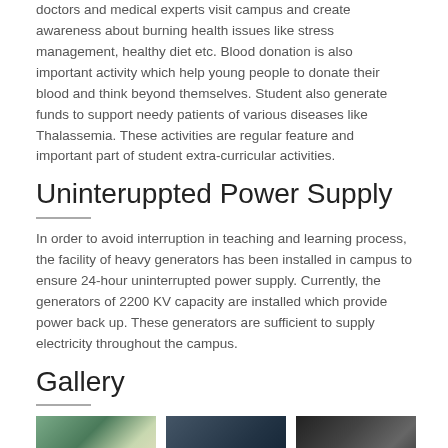doctors and medical experts visit campus and create awareness about burning health issues like stress management, healthy diet etc. Blood donation is also important activity which help young people to donate their blood and think beyond themselves. Student also generate funds to support needy patients of various diseases like Thalassemia. These activities are regular feature and important part of student extra-curricular activities.
Uninteruppted Power Supply
In order to avoid interruption in teaching and learning process, the facility of heavy generators has been installed in campus to ensure 24-hour uninterrupted power supply. Currently, the generators of 2200 KV capacity are installed which provide power back up. These generators are sufficient to supply electricity throughout the campus.
Gallery
[Figure (photo): Gallery photo 1 - indoor scene]
[Figure (photo): Gallery photo 2 - person working]
[Figure (photo): Gallery photo 3 - ceiling lights]